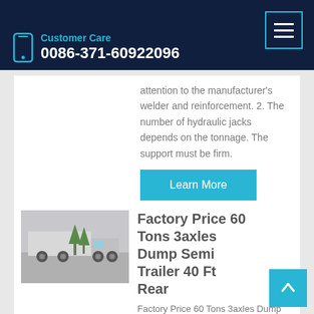Customer Care 0086-371-60922096
attention to the manufacturer's welder and reinforcement. 2. The number of hydraulic jacks depends on the tonnage. The support must be firm.
Learn More
Factory Price 60 Tons 3axles Dump Semi Trailer 40 Ft Rear
Factory Price 60 Tons 3axles Dump